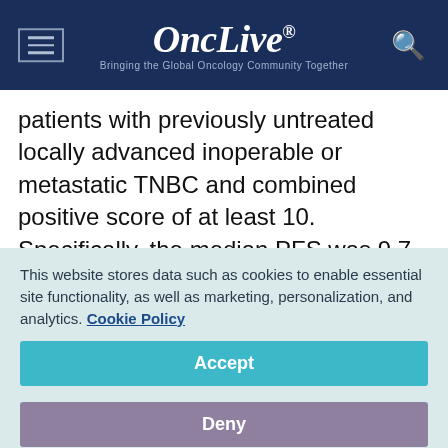OncLive® — Bringing the Global Oncology Community Together
patients with previously untreated locally advanced inoperable or metastatic TNBC and combined positive score of at least 10. Specifically, the median PFS was 9.7 months with pembrolizumab/chemotherapy vs 5.6 months with placebo/chemotherapy (HR, 0.65; 95% CI, 0.490.86; P = .0012).¹
This website stores data such as cookies to enable essential site functionality, as well as marketing, personalization, and analytics. Cookie Policy
Accept
Deny